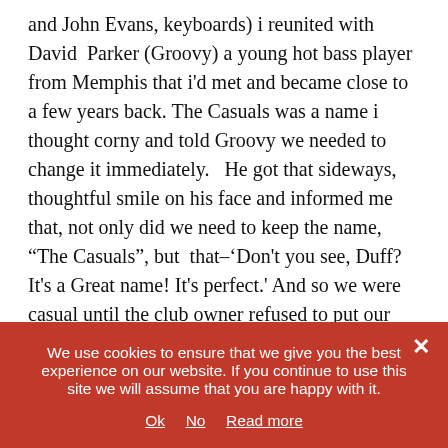and John Evans, keyboards) i reunited with David Parker (Groovy) a young hot bass player from Memphis that i'd met and became close to a few years back. The Casuals was a name i thought corny and told Groovy we needed to change it immediately.   He got that sideways, thoughtful smile on his face and informed me  that, not only did we need to keep the name, “The Casuals”, but  that–‘Don't you see, Duff? It's a Great name! It's perfect.' And so we were casual until the club owner refused to put our name out front on  the Blinking Sign–He had his own sign up that read (in big lit-up letters) “Try our wonderful Sausage & Biscuit”. Well-a Hell-a. Whatcha  gon do? We figured out a
We use cookies to ensure that we give you the best experience on our website. If you continue to use this site we will assume that you are happy with it.
Ok   No   Read more